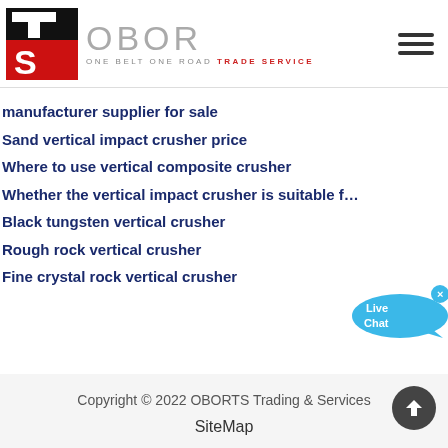[Figure (logo): OBORTS Trading & Services logo with TS icon and OBOR ONE BELT ONE ROAD TRADE SERVICE text]
manufacturer supplier for sale
Sand vertical impact crusher price
Where to use vertical composite crusher
Whether the vertical impact crusher is suitable f...
Black tungsten vertical crusher
Rough rock vertical crusher
Fine crystal rock vertical crusher
Copyright © 2022 OBORTS Trading & Services
SiteMap